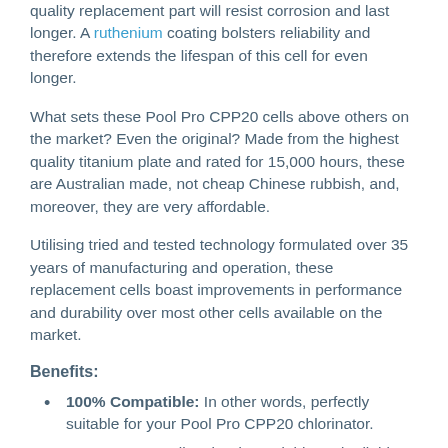quality replacement part will resist corrosion and last longer. A ruthenium coating bolsters reliability and therefore extends the lifespan of this cell for even longer.
What sets these Pool Pro CPP20 cells above others on the market? Even the original? Made from the highest quality titanium plate and rated for 15,000 hours, these are Australian made, not cheap Chinese rubbish, and, moreover, they are very affordable.
Utilising tried and tested technology formulated over 35 years of manufacturing and operation, these replacement cells boast improvements in performance and durability over most other cells available on the market.
Benefits:
100% Compatible: In other words, perfectly suitable for your Pool Pro CPP20 chlorinator.
Heavy Duty: Built to be dependable and reliable, the combination of Australian time-tested technology and design with the use of high quality materials and components